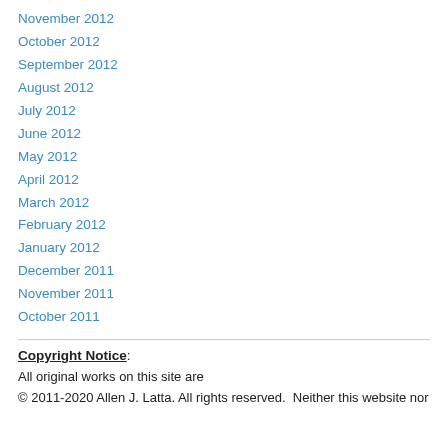November 2012
October 2012
September 2012
August 2012
July 2012
June 2012
May 2012
April 2012
March 2012
February 2012
January 2012
December 2011
November 2011
October 2011
Copyright Notice:
All original works on this site are
© 2011-2020 Allen J. Latta. All rights reserved.  Neither this website nor any portion thereof may be reproduced or used in any manner whatsoever